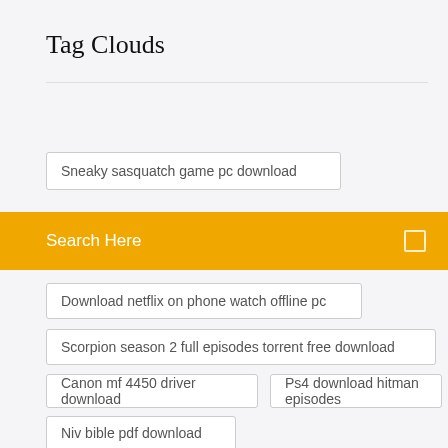Tag Clouds
Sneaky sasquatch game pc download
Search Here
Download netflix on phone watch offline pc
Scorpion season 2 full episodes torrent free download
Canon mf 4450 driver download
Ps4 download hitman episodes
Niv bible pdf download